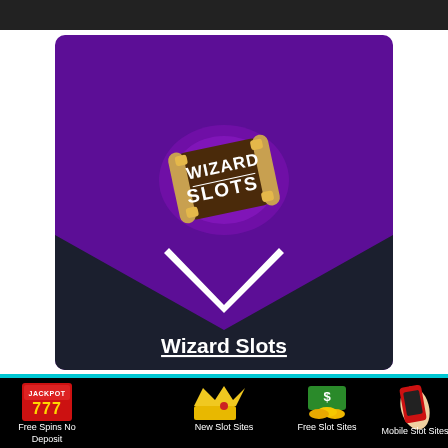[Figure (screenshot): Top dark banner/bar]
[Figure (illustration): Wizard Slots casino card with purple background, wizard scroll logo with glowing purple aura, dark chevron lower section, and 'Wizard Slots' title text underlined in white]
[Figure (infographic): Bottom black navigation bar with four icons and labels: Free Spins No Deposit (slot machine with jackpot 777), New Slot Sites (gold crown), Free Slot Sites (cash and coins), Mobile Slot Sites (hand holding red phone)]